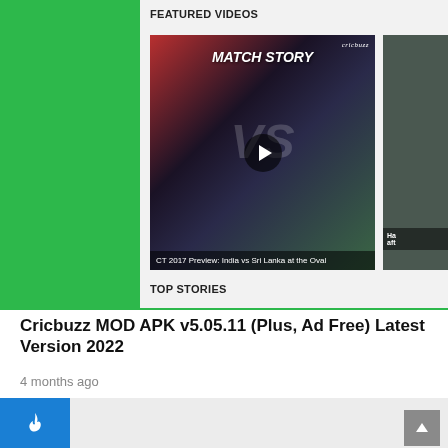[Figure (screenshot): Screenshot of Cricbuzz app showing Featured Videos section with a Match Story thumbnail (CT 2017 Preview: India vs Sri Lanka at the Oval) and Top Stories label below]
Cricbuzz MOD APK v5.05.11 (Plus, Ad Free) Latest Version 2022
4 months ago
[Figure (screenshot): Partial screenshot of another app card with a blue fire icon on the left side]